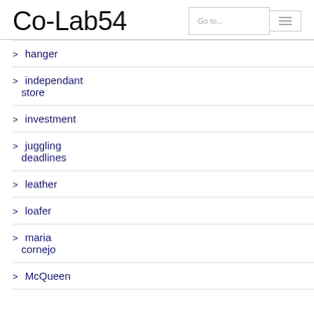Co-Lab54
hanger
independant store
investment
juggling deadlines
leather
loafer
maria cornejo
McQueen